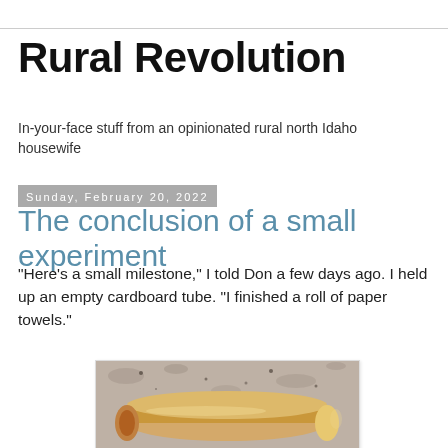Rural Revolution
In-your-face stuff from an opinionated rural north Idaho housewife
Sunday, February 20, 2022
The conclusion of a small experiment
"Here's a small milestone," I told Don a few days ago. I held up an empty cardboard tube. "I finished a roll of paper towels."
[Figure (photo): Photo of an empty cardboard paper towel tube lying on a granite or stone countertop surface]